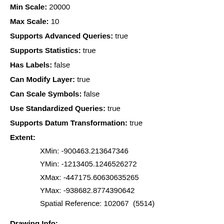Min Scale: 20000
Max Scale: 10
Supports Advanced Queries: true
Supports Statistics: true
Has Labels: false
Can Modify Layer: true
Can Scale Symbols: false
Use Standardized Queries: true
Supports Datum Transformation: true
Extent:
XMin: -900463.213647346
YMin: -1213405.1246526272
XMax: -447175.60630635265
YMax: -938682.8774390642
Spatial Reference: 102067  (5514)
Drawing Info: